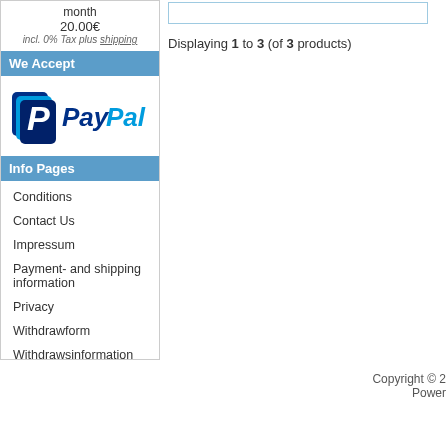month
20.00€
incl. 0% Tax plus shipping
We Accept
[Figure (logo): PayPal logo with blue P icon and PayPal text in blue]
Info Pages
Conditions
Contact Us
Impressum
Payment- and shipping information
Privacy
Withdrawform
Withdrawsinformation
Displaying 1 to 3 (of 3 products)
Copyright © 2
Power